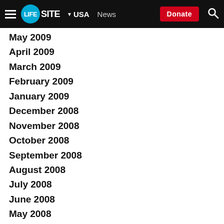LifeSite — USA | News | Donate
May 2009
April 2009
March 2009
February 2009
January 2009
December 2008
November 2008
October 2008
September 2008
August 2008
July 2008
June 2008
May 2008
April 2008
March 2008
February 2008
January 2008